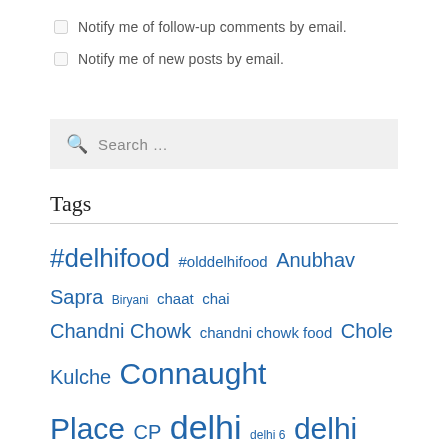Notify me of follow-up comments by email.
Notify me of new posts by email.
Search ...
Tags
#delhifood #olddelhifood Anubhav Sapra Biryani chaat chai Chandni Chowk chandni chowk food Chole Kulche Connaught Place CP delhi delhi 6 delhi food delhi food